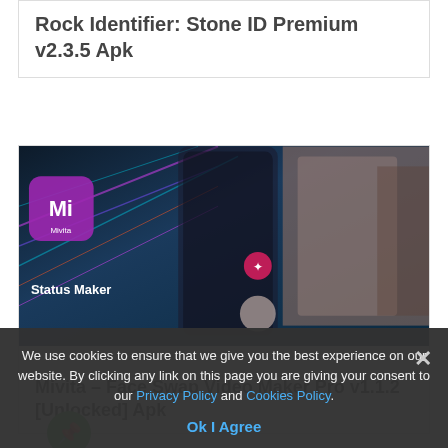Rock Identifier: Stone ID Premium v2.3.5 Apk
[Figure (screenshot): Mivita app promotional screenshot showing face swap video maker app with Status Maker label and woman in Indian attire]
Mivita – Face Swap Video Maker Pro v1.1.2 [Unlocked] Apk
We use cookies to ensure that we give you the best experience on our website. By clicking any link on this page you are giving your consent to our Privacy Policy and Cookies Policy. Ok I Agree